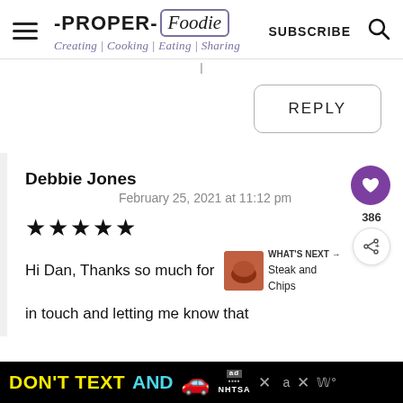-PROPER- Foodie | Creating | Cooking | Eating | Sharing | SUBSCRIBE
REPLY
Debbie Jones
February 25, 2021 at 11:12 pm
★★★★★
Hi Dan, Thanks so much for in touch and letting me know that
[Figure (screenshot): Ad banner: DON'T TEXT AND [car emoji] ad, NHTSA, with close buttons]